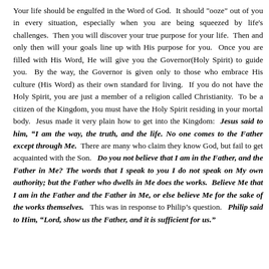Your life should be engulfed in the Word of God. It should "ooze" out of you in every situation, especially when you are being squeezed by life's challenges. Then you will discover your true purpose for your life. Then and only then will your goals line up with His purpose for you. Once you are filled with His Word, He will give you the Governor(Holy Spirit) to guide you. By the way, the Governor is given only to those who embrace His culture (His Word) as their own standard for living. If you do not have the Holy Spirit, you are just a member of a religion called Christianity. To be a citizen of the Kingdom, you must have the Holy Spirit residing in your mortal body. Jesus made it very plain how to get into the Kingdom: Jesus said to him, “I am the way, the truth, and the life. No one comes to the Father except through Me. There are many who claim they know God, but fail to get acquainted with the Son. Do you not believe that I am in the Father, and the Father in Me? The words that I speak to you I do not speak on My own authority; but the Father who dwells in Me does the works. Believe Me that I am in the Father and the Father in Me, or else believe Me for the sake of the works themselves. This was in response to Philip’s question. Philip said to Him, “Lord, show us the Father, and it is sufficient for us.”